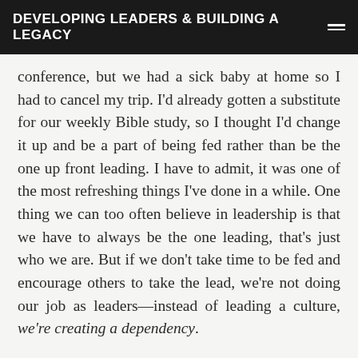DEVELOPING LEADERS & BUILDING A LEGACY
conference, but we had a sick baby at home so I had to cancel my trip. I'd already gotten a substitute for our weekly Bible study, so I thought I'd change it up and be a part of being fed rather than be the one up front leading. I have to admit, it was one of the most refreshing things I've done in a while. One thing we can too often believe in leadership is that we have to always be the one leading, that's just who we are. But if we don't take time to be fed and encourage others to take the lead, we're not doing our job as leaders—instead of leading a culture, we're creating a dependency.
Think about it for a second. If you're the only one who ever leads, teaches, and speaks, what happens when you get the flu or another opportunity comes up? You've done a disservice to your ministry because you've not